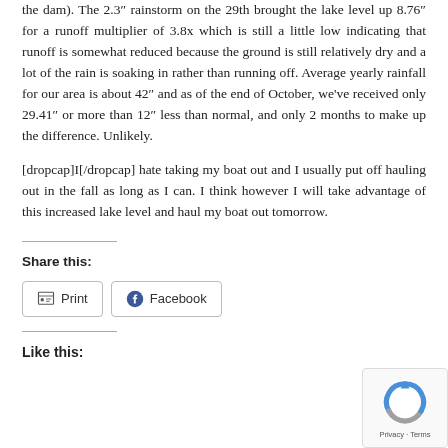the dam). The 2.3″ rainstorm on the 29th brought the lake level up 8.76″ for a runoff multiplier of 3.8x which is still a little low indicating that runoff is somewhat reduced because the ground is still relatively dry and a lot of the rain is soaking in rather than running off. Average yearly rainfall for our area is about 42″ and as of the end of October, we've received only 29.41″ or more than 12″ less than normal, and only 2 months to make up the difference. Unlikely.
[dropcap]I[/dropcap] hate taking my boat out and I usually put off hauling out in the fall as long as I can. I think however I will take advantage of this increased lake level and haul my boat out tomorrow.
Share this:
Print  Facebook
Like this:
[Figure (logo): Google reCAPTCHA badge with circular arrow logo and Privacy · Terms text]